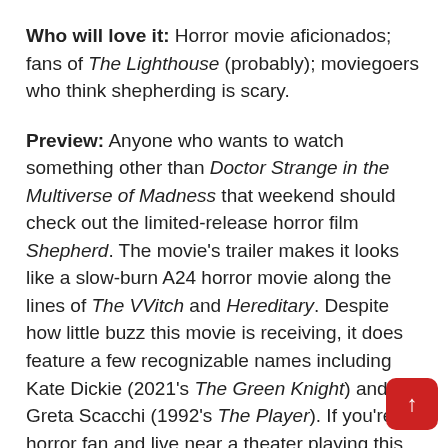Who will love it: Horror movie aficionados; fans of The Lighthouse (probably); moviegoers who think shepherding is scary.
Preview: Anyone who wants to watch something other than Doctor Strange in the Multiverse of Madness that weekend should check out the limited-release horror film Shepherd. The movie's trailer makes it looks like a slow-burn A24 horror movie along the lines of The VVitch and Hereditary. Despite how little buzz this movie is receiving, it does feature a few recognizable names including Kate Dickie (2021's The Green Knight) and Greta Scacchi (1992's The Player). If you're a horror fan and live near a theater playing this m then you should definitely try to see it.